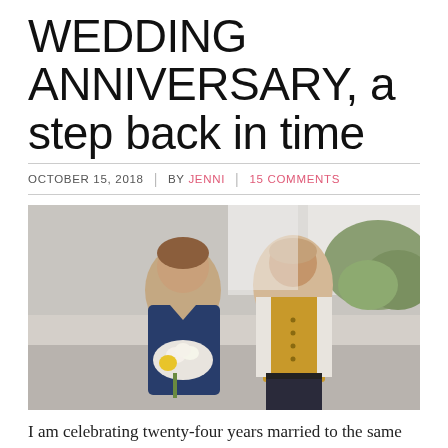WEDDING ANNIVERSARY, a step back in time
OCTOBER 15, 2018  |  BY JENNI  |  15 COMMENTS
[Figure (photo): A couple posing together outdoors. The woman is wearing a navy sleeveless dress and holding a bouquet of white and yellow flowers. The man is wearing a yellow/gold vest over a white shirt with dark pants.]
I am celebrating twenty-four years married to the same amazing human. The 'Huz' is all the